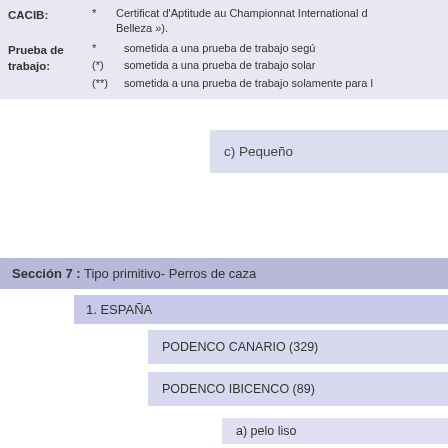CACIB: * Certificat d'Aptitude au Championnat International de Belleza »).
Prueba de trabajo: * sometida a una prueba de trabajo según
(*) sometida a una prueba de trabajo solar
(**) sometida a una prueba de trabajo solamente para le
c) Pequeño
Sección 7 : Tipo primitivo- Perros de caza
1. ESPAÑA
PODENCO CANARIO (329)
PODENCO IBICENCO (89)
a) pelo liso